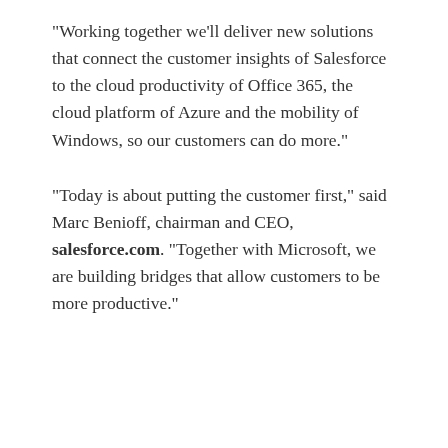"Working together we'll deliver new solutions that connect the customer insights of Salesforce to the cloud productivity of Office 365, the cloud platform of Azure and the mobility of Windows, so our customers can do more."
"Today is about putting the customer first," said Marc Benioff, chairman and CEO, salesforce.com. "Together with Microsoft, we are building bridges that allow customers to be more productive."